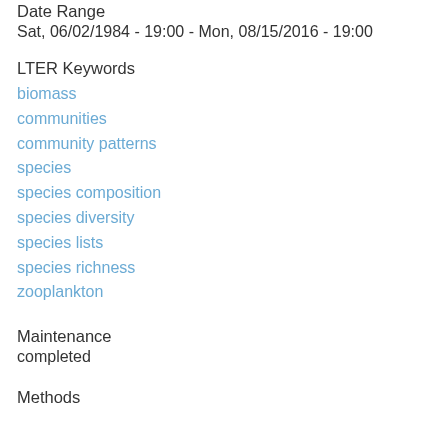Date Range
Sat, 06/02/1984 - 19:00 - Mon, 08/15/2016 - 19:00
LTER Keywords
biomass
communities
community patterns
species
species composition
species diversity
species lists
species richness
zooplankton
Maintenance
completed
Methods